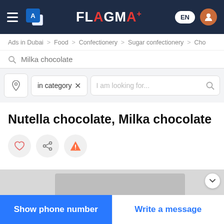FLAGMA+ EN [user icon]
Ads in Dubai > Food > Confectionery > Sugar confectionery > Cho...
Milka chocolate
in category × | I am looking for...
Nutella chocolate, Milka chocolate
[Figure (screenshot): Action icon buttons: heart (like), share, and warning/report triangle icons]
[Figure (photo): Partial product photo - top portion of a jar/container visible against grey background]
Show phone number
Write a message